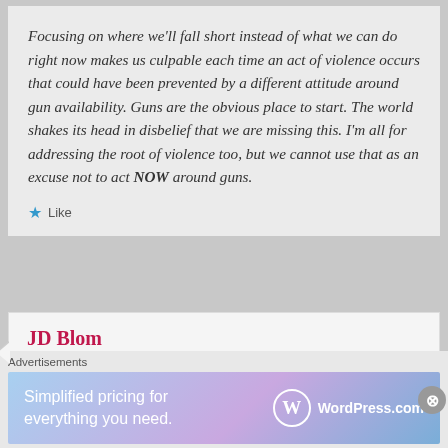Focusing on where we'll fall short instead of what we can do right now makes us culpable each time an act of violence occurs that could have been prevented by a different attitude around gun availability. Guns are the obvious place to start. The world shakes its head in disbelief that we are missing this. I'm all for addressing the root of violence too, but we cannot use that as an excuse not to act NOW around guns.
Like
JD Blom
January 6, 2013 at 9:57 pm
I just think that we need action that will
Advertisements
[Figure (other): WordPress.com advertisement banner with gradient background (blue to purple). Text reads 'Simplified pricing for everything you need.' with WordPress.com logo on the right.]